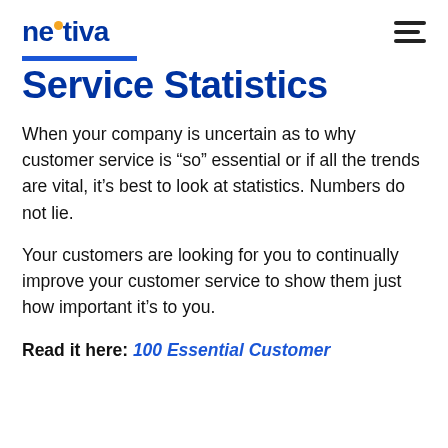nextiva
Service Statistics
When your company is uncertain as to why customer service is “so” essential or if all the trends are vital, it’s best to look at statistics. Numbers do not lie.
Your customers are looking for you to continually improve your customer service to show them just how important it’s to you.
Read it here: 100 Essential Customer